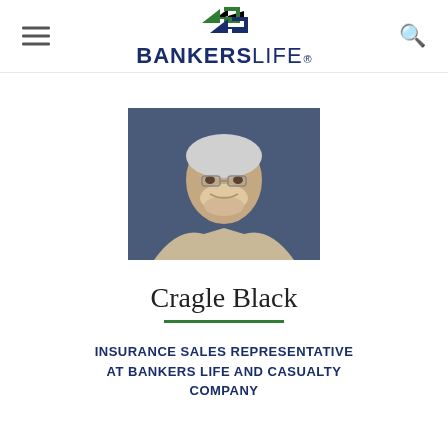BANKERS LIFE®
[Figure (photo): Professional headshot of Cragle Black, a middle-aged man with gray hair and beard wearing a light blazer and tie, smiling against a blue background]
Cragle Black
INSURANCE SALES REPRESENTATIVE AT BANKERS LIFE AND CASUALTY COMPANY